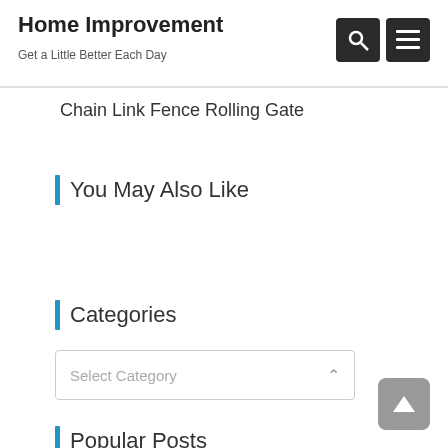Home Improvement
Get a Little Better Each Day
Chain Link Fence Rolling Gate
You May Also Like
Categories
Select Category
Popular Posts